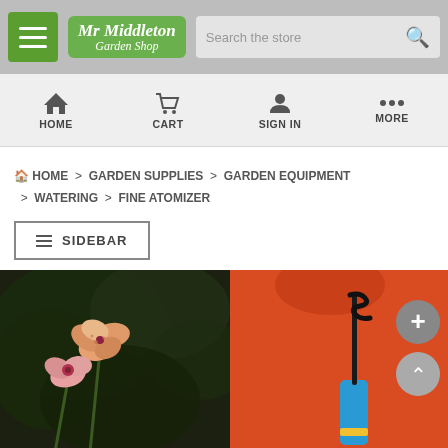Mr Middleton Garden Shop — top navigation header with hamburger menu, logo, and search bar
HOME   CART   SIGN IN   MORE
HOME > GARDEN SUPPLIES > GARDEN EQUIPMENT > WATERING > FINE ATOMIZER
≡ SIDEBAR
[Figure (photo): Person in red top holding a blue fine atomizer garden tool, with pink orchid flowers in the foreground and dark green foliage background]